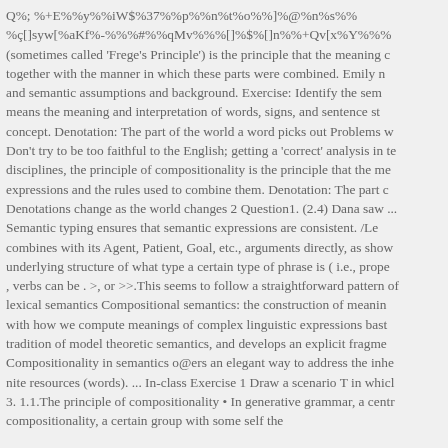Q;Q+EQQyQQiW$Q37QQpQQnQtQoQQ]Q@QnQsQQQç[]syw[QaKf-QQQ#QQqMvQQQ[]Q$Q[]nQQ+Qv[xQYQQQ (sometimes called 'Frege's Principle') is the principle that the meaning c together with the manner in which these parts were combined. Emily n and semantic assumptions and background. Exercise: Identify the sem means the meaning and interpretation of words, signs, and sentence st concept. Denotation: The part of the world a word picks out Problems w Don't try to be too faithful to the English; getting a 'correct' analysis in te disciplines, the principle of compositionality is the principle that the me expressions and the rules used to combine them. Denotation: The part c Denotations change as the world changes 2 Question1. (2.4) Dana saw ... Semantic typing ensures that semantic expressions are consistent. /Le combines with its Agent, Patient, Goal, etc., arguments directly, as show underlying structure of what type a certain type of phrase is ( i.e., prope , verbs can be . >, or >>.This seems to follow a straightforward pattern of lexical semantics Compositional semantics: the construction of meanin with how we compute meanings of complex linguistic expressions bast tradition of model theoretic semantics, and develops an explicit fragme Compositionality in semantics o ers an elegant way to address the inhe nite resources (words). ... In-class Exercise 1 Draw a scenario T in whicl 3. 1.1.The principle of compositionality • In generative grammar, a centr compositionality, a certain group with some self the